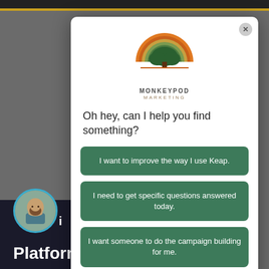[Figure (screenshot): Screenshot of a website with a Monkeypod Marketing modal popup overlay. Background shows a dark banner at the top and a dark section at the bottom with a person's profile photo and text. The modal contains the Monkeypod Marketing logo, a question, and three green button options.]
Oh hey, can I help you find something?
I want to improve the way I use Keap.
I need to get specific questions answered today.
I want someone to do the campaign building for me.